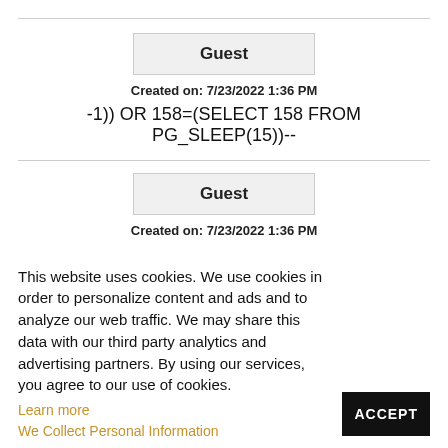Guest
Created on: 7/23/2022 1:36 PM
-1)) OR 158=(SELECT 158 FROM PG_SLEEP(15))--
Guest
Created on: 7/23/2022 1:36 PM
This website uses cookies. We use cookies in order to personalize content and ads and to analyze our web traffic. We may share this data with our third party analytics and advertising partners. By using our services, you agree to our use of cookies.
Learn more
We Collect Personal Information
ACCEPT